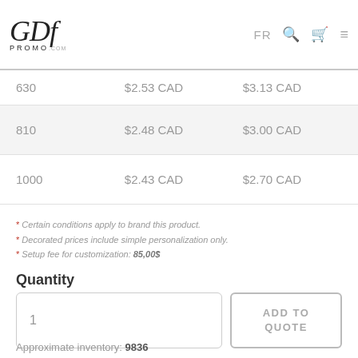GDF PROMO .com — FR, search, cart, menu
| Qty | Price | Decorated Price |
| --- | --- | --- |
| 630 | $2.53 CAD | $3.13 CAD |
| 810 | $2.48 CAD | $3.00 CAD |
| 1000 | $2.43 CAD | $2.70 CAD |
* Certain conditions apply to brand this product.
* Decorated prices include simple personalization only.
* Setup fee for customization: 85,00$
Quantity
1
ADD TO QUOTE
Approximate inventory: 9836